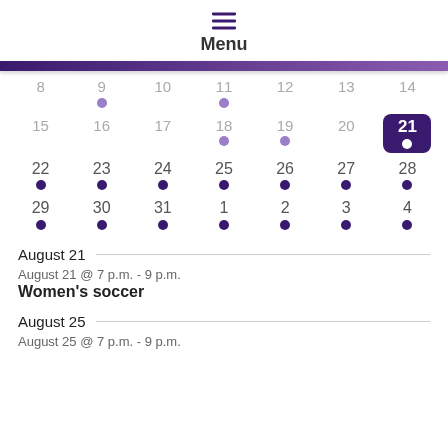Menu
[Figure (other): Monthly calendar showing dates 8-31 and 1-4, with purple dots indicating events on days 9, 11, 18, 19, 21-31 and 1-4. Day 21 is selected/highlighted in dark purple.]
August 21
August 21 @ 7 p.m. - 9 p.m.
Women's soccer
August 25
August 25 @ 7 p.m. - 9 p.m.